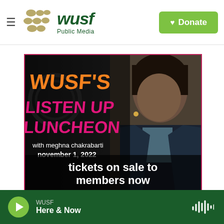WUSF Public Media — header with Donate button
[Figure (photo): WUSF's Listen Up Luncheon promotional image featuring Meghna Chakrabarti with text: WUSF'S LISTEN UP LUNCHEON with meghna chakrabarti november 1, 2022 tickets on sale to members now]
WUSF — Here & Now — audio player bar